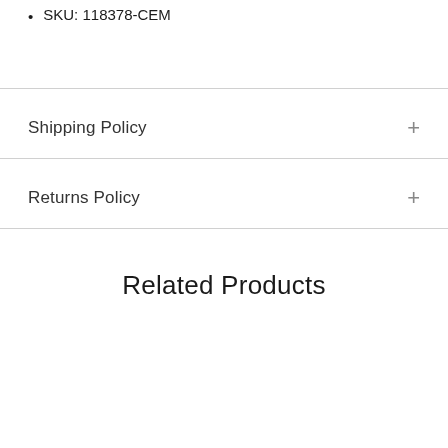SKU: 118378-CEM
Shipping Policy
Returns Policy
Related Products